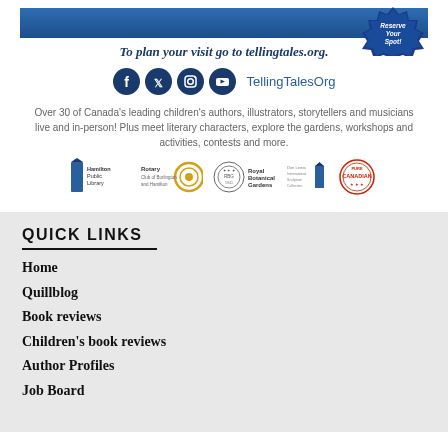[Figure (illustration): Blue banner at top of page with 'Reserve Your Spot!' badge on the right]
To plan your visit go to tellingtales.org.
[Figure (infographic): Social media icons (Facebook, Twitter, Instagram, YouTube) followed by handle TellingTalesOrg]
Over 30 of Canada's leading children's authors, illustrators, storytellers and musicians live and in-person! Plus meet literary characters, explore the gardens, workshops and activities, contests and more.
[Figure (logo): Sponsor logos: Hamilton Public Library, Rotary Club of Burlington and Hamilton, Royal Botanical Gardens, Don Lewis International Sculpture Collection, Pure Canadian]
QUICK LINKS
Home
Quillblog
Book reviews
Children's book reviews
Author Profiles
Job Board